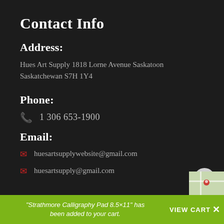Contact Info
Address:
Hues Art Supply 1818 Lorne Avenue Saskatoon Saskatchewan S7H 1Y4
Phone:
1 306 653-1900
Email:
huesartsupplywebsite@gmail.com
huesartsupply@gmail.com
"Strathmore Calligraphy Pad 8.5×11" has been added to your cart. VIEW CART ×